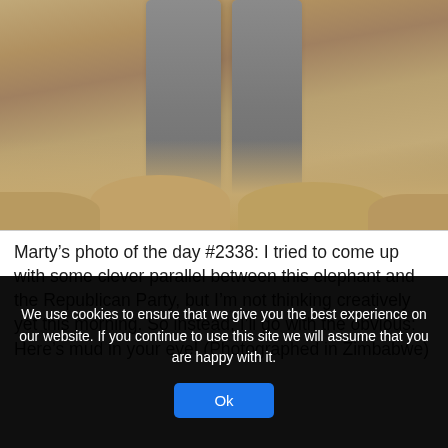[Figure (photo): Close-up photo of elephant legs/feet standing in sandy soil, photographed in Zimbabwe. The elephant's thick grey legs and sandy ground are visible.]
Marty's photo of the day #2338: I tried to come up with some clever parallel between this elephant and the Republican Party, but I'm not thinking creatively yet this morning. So instead, I'll go with the obvious: Here's mud in your eye! (Photographed in Zimbabwe)
We use cookies to ensure that we give you the best experience on our website. If you continue to use this site we will assume that you are happy with it.